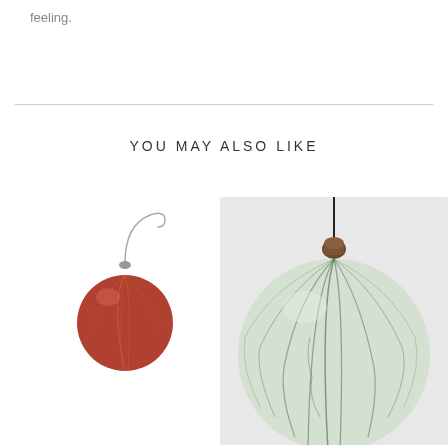feeling.
YOU MAY ALSO LIKE
[Figure (photo): A small red-brown ribbed glass Christmas ornament ball with a silver wire hook, hanging against a white background]
[Figure (photo): A large light green/mint ceramic or glass Christmas ornament ball with dark green vein-like stripe pattern, with a brown-gold cap and thin black hanging wire, against a light gray background]